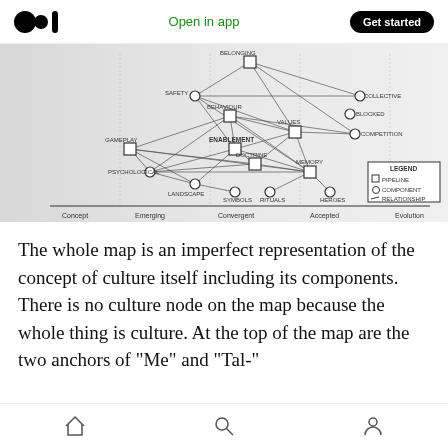Open in app | Get started
[Figure (network-graph): A network/relationship map showing cultural concepts as nodes (square = pipeline, circle = component) connected by lines (relationship). Nodes include: BELONGING, SAFETY, COLLECTIVE, BLOCKED, BEHAVIOUR, COMPETITION, VALUES, GAMEPLAY, ENABLEMENT, DOCTRINE, PSYCHOLOGICAL, LANDSCAPE, MEMORY, SYMBOLS, RITUALS, HEROES. X-axis shows evolution stages: Concept, Emerging, Convergent, Accepted, Evolution. A legend shows Pipeline (square), Component (circle), Relationship (line).]
The whole map is an imperfect representation of the concept of culture itself including its components. There is no culture node on the map because the whole thing is culture. At the top of the map are the two anchors of “Me” and “Tal-”
Home | Search | Profile